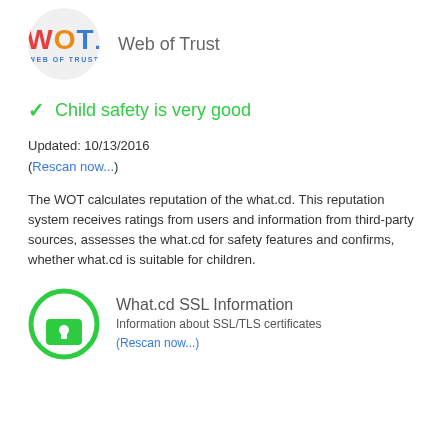[Figure (logo): WOT (Web of Trust) circular logo with red W, orange O, blue T and dot, subtitle WEB OF TRUST in blue, inside a light gray circle]
Web of Trust
Child safety is very good
Updated: 10/13/2016
(Rescan now...)
The WOT calculates reputation of the what.cd. This reputation system receives ratings from users and information from third-party sources, assesses the what.cd for safety features and confirms, whether what.cd is suitable for children.
[Figure (illustration): Green circle outline with a padlock icon in white inside it]
What.cd SSL Information
Information about SSL/TLS certificates
(Rescan now...)